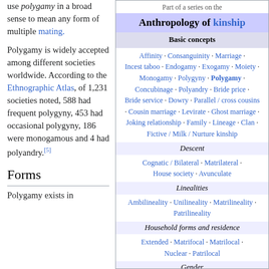use polygamy in a broad sense to mean any form of multiple mating.
Polygamy is widely accepted among different societies worldwide. According to the Ethnographic Atlas, of 1,231 societies noted, 588 had frequent polygyny, 453 had occasional polygyny, 186 were monogamous and 4 had polyandry.[5]
Forms
Polygamy exists in
[Figure (infographic): Wikipedia infobox: Part of a series on the Anthropology of kinship. Sections include Basic concepts (Affinity, Consanguinity, Marriage, Incest taboo, Endogamy, Exogamy, Moiety, Monogamy, Polygyny, Polygamy, Concubinage, Polyandry, Bride price, Bride service, Dowry, Parallel/cross cousins, Cousin marriage, Levirate, Ghost marriage, Joking relationship, Family, Lineage, Clan, Fictive/Milk/Nurture kinship), Descent (Cognatic/Bilateral, Matrilateral, House society, Avunculate), Linealities (Ambilineality, Unilineality, Matrilineality, Patrilineality), Household forms and residence (Extended, Matrifocal, Matrilocal, Nuclear, Patrilocal), Gender (Third gender).]